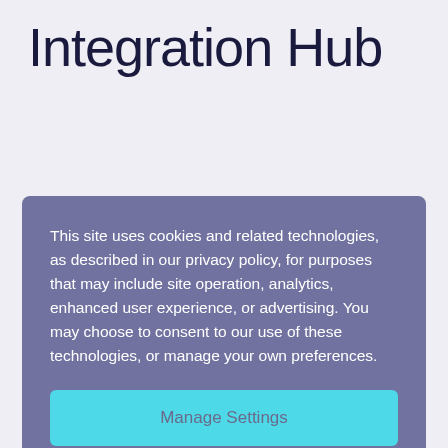Integration Hub
This site uses cookies and related technologies, as described in our privacy policy, for purposes that may include site operation, analytics, enhanced user experience, or advertising. You may choose to consent to our use of these technologies, or manage your own preferences.
Manage Settings
Accept All